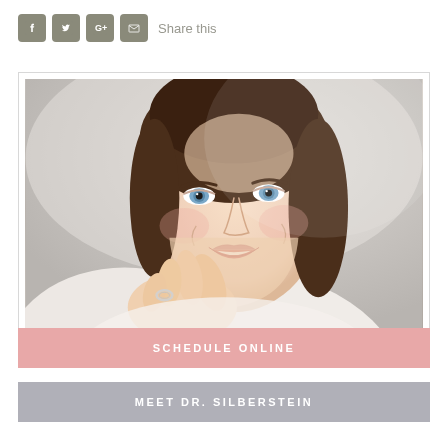Share this
[Figure (photo): Close-up photo of a smiling middle-aged woman with dark brown hair and blue eyes, hand raised near her face with a ring visible, soft studio background]
SCHEDULE ONLINE
MEET DR. SILBERSTEIN